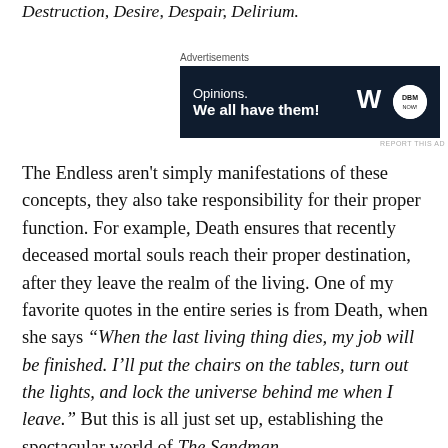Destruction, Desire, Despair, Delirium.
[Figure (other): Advertisement banner for WordPress/DBM with dark navy background. Text reads: 'Opinions. We all have them!' with WordPress W logo and DBM circular logo on the right.]
The Endless aren't simply manifestations of these concepts, they also take responsibility for their proper function. For example, Death ensures that recently deceased mortal souls reach their proper destination, after they leave the realm of the living. One of my favorite quotes in the entire series is from Death, when she says "When the last living thing dies, my job will be finished. I'll put the chairs on the tables, turn out the lights, and lock the universe behind me when I leave." But this is all just set up, establishing the spectacular world of The Sandman.